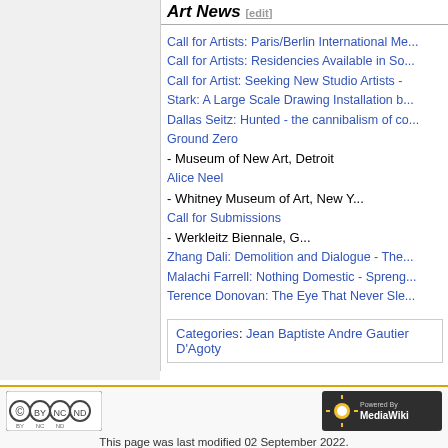Art News
Call for Artists: Paris/Berlin International Me...
Call for Artists: Residencies Available in So...
Call for Artist: Seeking New Studio Artists -
Stark: A Large Scale Drawing Installation b...
Dallas Seitz: Hunted - the cannibalism of co...
Ground Zero - Museum of New Art, Detroit
Alice Neel - Whitney Museum of Art, New Y...
Call for Submissions - Werkleitz Biennale, G...
Zhang Dali: Demolition and Dialogue - The...
Malachi Farrell: Nothing Domestic - Spreng...
Terence Donovan: The Eye That Never Sle...
Categories: Jean Baptiste Andre Gautier D'Agoty
This page was last modified 02 September 2022. Text is available under GNU Free Documentation License. Privacy policy